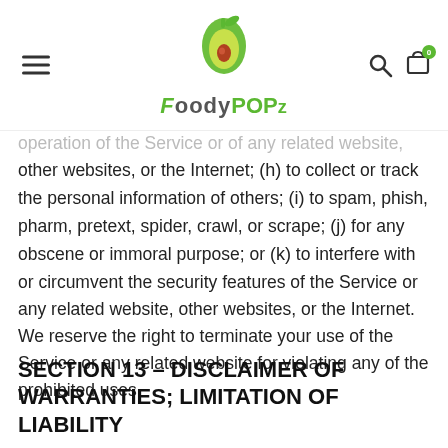FoodyPOPz logo with hamburger menu, search and cart icons
operation of the Service or of any related website, other websites, or the Internet; (h) to collect or track the personal information of others; (i) to spam, phish, pharm, pretext, spider, crawl, or scrape; (j) for any obscene or immoral purpose; or (k) to interfere with or circumvent the security features of the Service or any related website, other websites, or the Internet. We reserve the right to terminate your use of the Service or any related website for violating any of the prohibited uses.
SECTION 13 – DISCLAIMER OF WARRANTIES; LIMITATION OF LIABILITY